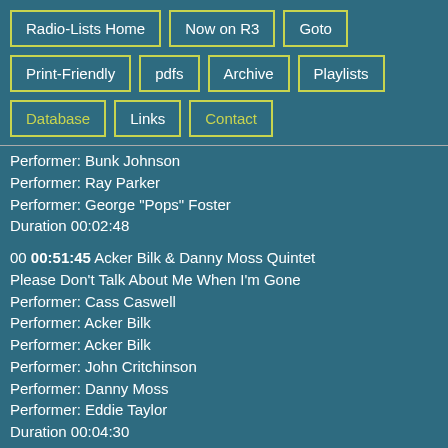Radio-Lists Home
Now on R3
Goto
Print-Friendly
pdfs
Archive
Playlists
Database
Links
Contact
Performer: Bunk Johnson
Performer: Ray Parker
Performer: George "Pops" Foster
Duration 00:02:48
00 00:51:45 Acker Bilk & Danny Moss Quintet Please Don't Talk About Me When I'm Gone
Performer: Cass Caswell
Performer: Acker Bilk
Performer: Acker Bilk
Performer: John Critchinson
Performer: Danny Moss
Performer: Eddie Taylor
Duration 00:04:30
00 00:22:28 Louis Armstrong